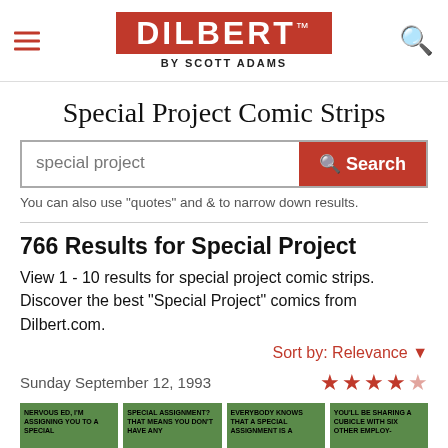DILBERT by SCOTT ADAMS
Special Project Comic Strips
special project [search bar]
You can also use "quotes" and & to narrow down results.
766 Results for Special Project
View 1 - 10 results for special project comic strips. Discover the best "Special Project" comics from Dilbert.com.
Sort by: Relevance
Sunday September 12, 1993
[Figure (illustration): Four Dilbert comic strip thumbnail panels with green backgrounds showing characters with speech bubbles about special assignments and cubicle sharing.]